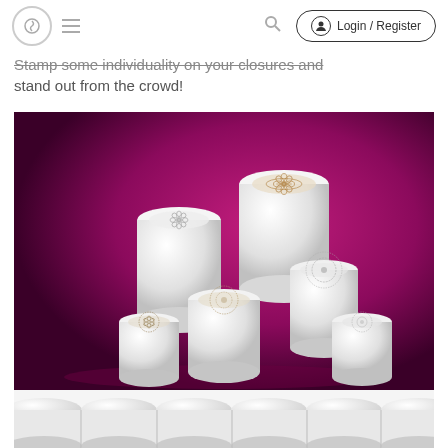Login / Register
Stamp some individuality on your closures and stand out from the crowd!
[Figure (photo): Five white cylindrical closures/caps with decorative embossed patterns on their tops, arranged on a magenta/purple background. The caps vary in size, with two larger ones in the back and three smaller ones in the front.]
[Figure (photo): Bottom portion showing the tops of multiple white circular caps/closures arranged in a row against a white background.]